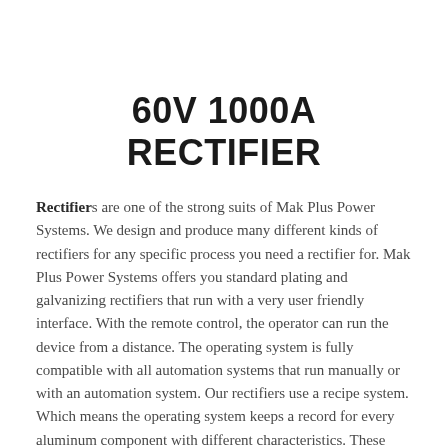60V 1000A RECTIFIER
Rectifiers are one of the strong suits of Mak Plus Power Systems. We design and produce many different kinds of rectifiers for any specific process you need a rectifier for. Mak Plus Power Systems offers you standard plating and galvanizing rectifiers that run with a very user friendly interface. With the remote control, the operator can run the device from a distance. The operating system is fully compatible with all automation systems that run manually or with an automation system. Our rectifiers use a recipe system. Which means the operating system keeps a record for every aluminum component with different characteristics. These records can be used as a recipe for different components as